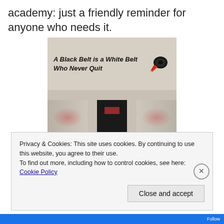academy: just a friendly reminder for anyone who needs it.
[Figure (photo): Photo of a martial arts academy hallway with a sign reading 'A Black Belt is a White Belt Who Never Quit' with a black belt graphic, and a corridor with a door in the background.]
Privacy & Cookies: This site uses cookies. By continuing to use this website, you agree to their use.
To find out more, including how to control cookies, see here: Cookie Policy
Close and accept